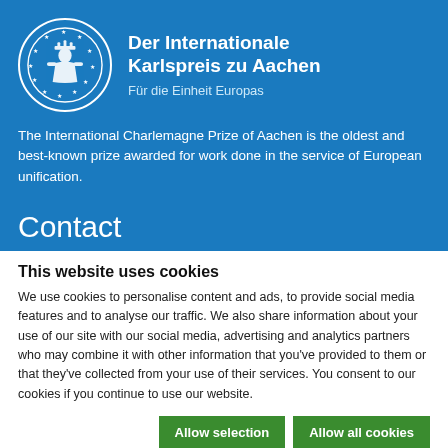[Figure (logo): Circular logo of Der Internationale Karlspreis zu Aachen with stars around the border and a figure in the center]
Der Internationale Karlspreis zu Aachen
Für die Einheit Europas
The International Charlemagne Prize of Aachen is the oldest and best-known prize awarded for work done in the service of European unification.
Contact
This website uses cookies
We use cookies to personalise content and ads, to provide social media features and to analyse our traffic. We also share information about your use of our site with our social media, advertising and analytics partners who may combine it with other information that you've provided to them or that they've collected from your use of their services. You consent to our cookies if you continue to use our website.
Allow selection | Allow all cookies
Necessary | Preferences | Statistics | Marketing | Settings